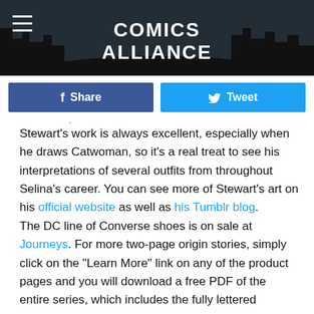[Figure (illustration): Comics Alliance website header banner with dark skyline silhouette and white bold text reading COMICS ALLIANCE in the center, hamburger menu icon on the left]
Share
Tweet
Stewart's work is always excellent, especially when he draws Catwoman, so it's a real treat to see his interpretations of several outfits from throughout Selina's career. You can see more of Stewart's art on his official website as well as his Tumblr blog.
The DC line of Converse shoes is on sale at Journeys. For more two-page origin stories, simply click on the "Learn More" link on any of the product pages and you will download a free PDF of the entire series, which includes the fully lettered Catwoman strip.